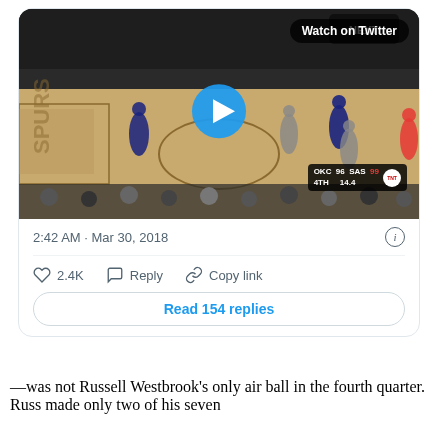[Figure (screenshot): Embedded tweet card showing a video thumbnail of an NBA basketball game (OKC vs SAS, 4th quarter, OKC 96 SAS 99, 14.4 seconds remaining), with a blue play button overlay and 'Watch on Twitter' badge. Tweet timestamp: 2:42 AM · Mar 30, 2018. Actions: 2.4K likes, Reply, Copy link. Button: Read 154 replies.]
—was not Russell Westbrook's only air ball in the fourth quarter. Russ made only two of his seven